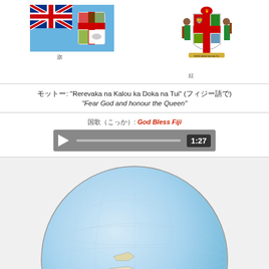[Figure (illustration): Flag of Fiji - light blue background with Union Jack and Fiji coat of arms shield]
旗子（フィジーの国旗）
[Figure (illustration): Coat of arms of Fiji - two Fijian warriors holding a shield with British lion and cross, palm tree, sugar cane, dove, and banana stalk]
紋章（フィジーの国章）
モットー: "Rerevaka na Kalou ka Doka na Tui" (フィジー語で)
"Fear God and honour the Queen"
国歌（こっか）: God Bless Fiji
[Figure (other): Audio player bar showing play button and time 1:27]
[Figure (map): Globe map showing Pacific Ocean region with Fiji islands highlighted in red/pink, Australia visible]